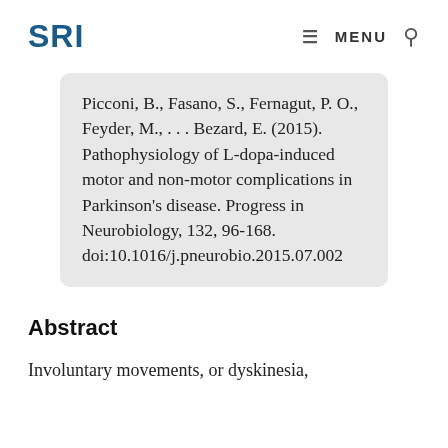SRI   ≡ MENU  🔍
Picconi, B., Fasano, S., Fernagut, P. O., Feyder, M., . . . Bezard, E. (2015). Pathophysiology of L-dopa-induced motor and non-motor complications in Parkinson's disease. Progress in Neurobiology, 132, 96-168. doi:10.1016/j.pneurobio.2015.07.002
Abstract
Involuntary movements, or dyskinesia,